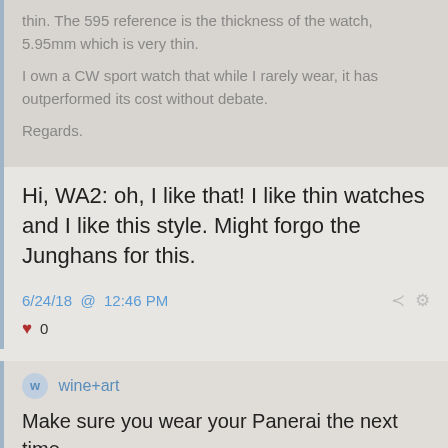thin. The 595 reference is the thickness of the watch, 5.95mm which is very thin.
I own a CW sport watch that while I rarely wear, it has outperformed its cost without debate.
Regards.
Hi, WA2:  oh, I like that!  I like thin watches and I like this style.  Might forgo the Junghans for this.
6/24/18  @  12:46 PM
0
wine+art
Make sure you wear your Panerai the next time